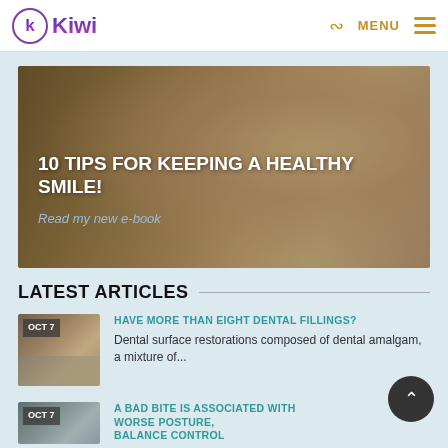Kiwi
[Figure (photo): Woman smiling with hand behind head, outdoor bokeh background, hero banner image]
10 TIPS FOR KEEPING A HEALTHY SMILE!
Read my new e-book
LATEST ARTICLES
[Figure (photo): Dental procedure close-up thumbnail with OCT 7 date overlay]
HAVE MORE THAN EIGHT DENTAL FILLINGS?
Dental surface restorations composed of dental amalgam, a mixture of...
[Figure (photo): Person photo thumbnail with OCT 7 date overlay]
A BAD BITE IS ASSOCIATED WITH WORSE POSTURE, BALANCE CONTROL